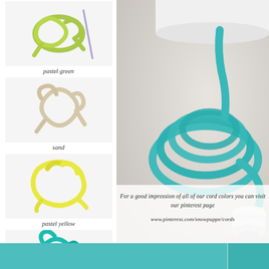[Figure (photo): Small knotted cord in pastel green color on white background]
pastel green
[Figure (photo): Small knotted cord in sand/cream color on white background]
sand
[Figure (photo): Small knotted cord in pastel yellow color on white background]
pastel yellow
[Figure (photo): Small knotted cord in turquoise color on white background]
turquoise
[Figure (photo): Small knotted cord in white color on white background]
white
[Figure (photo): Small knotted cord in red color on white background]
red
[Figure (photo): Large main photo: turquoise coiled fabric pendant cord with white ceramic lamp holder on light grey background]
For a good impression of all of our cord colors you can visit our pinterest page
www.pinterest.com/snowpuppe/cords